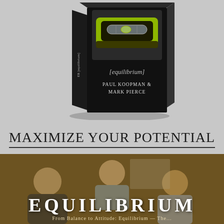[Figure (photo): Book cover of '[equilibrium]' by Paul Koopman & Mark Pierce, showing a spirit level on a dark background, displayed as a 3D book standing upright on a light gray background]
MAXIMIZE YOUR POTENTIAL
[Figure (photo): Three men laughing together in a casual indoor setting, with a warm brownish-orange overlay tint over the image]
EQUILIBRIUM